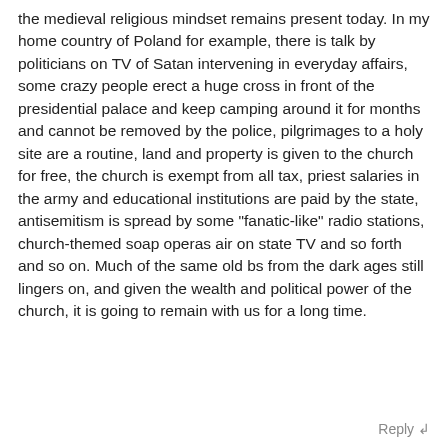the medieval religious mindset remains present today. In my home country of Poland for example, there is talk by politicians on TV of Satan intervening in everyday affairs, some crazy people erect a huge cross in front of the presidential palace and keep camping around it for months and cannot be removed by the police, pilgrimages to a holy site are a routine, land and property is given to the church for free, the church is exempt from all tax, priest salaries in the army and educational institutions are paid by the state, antisemitism is spread by some "fanatic-like" radio stations, church-themed soap operas air on state TV and so forth and so on. Much of the same old bs from the dark ages still lingers on, and given the wealth and political power of the church, it is going to remain with us for a long time.
Reply ↲